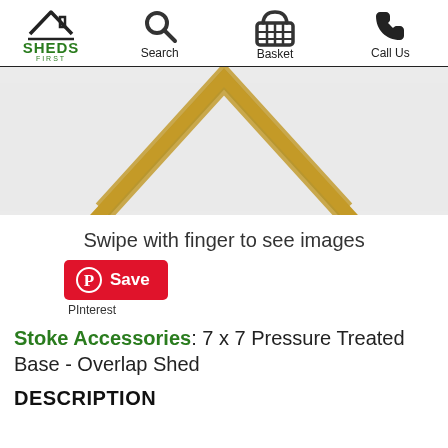Home | Search | Basket | Call Us
[Figure (photo): Partial product image showing a wooden frame corner on a light grey background]
Swipe with finger to see images
[Figure (other): Pinterest Save button and label]
Stoke Accessories: 7 x 7 Pressure Treated Base - Overlap Shed
DESCRIPTION